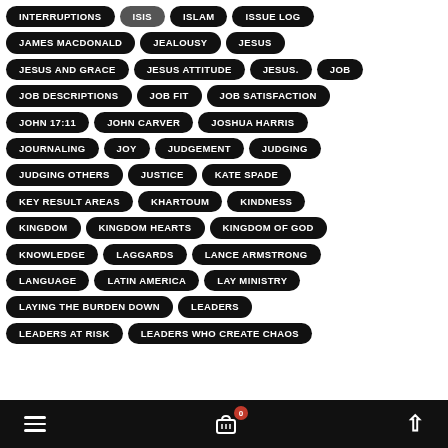INTERRUPTIONS
ISIS
ISLAM
ISSUE LOG
JAMES MACDONALD
JEALOUSY
JESUS
JESUS AND GRACE
JESUS ATTITUDE
JESUS.
JOB
JOB DESCRIPTIONS
JOB FIT
JOB SATISFACTION
JOHN 17:11
JOHN CARVER
JOSHUA HARRIS
JOURNALING
JOY
JUDGEMENT
JUDGING
JUDGING OTHERS
JUSTICE
KATE SPADE
KEY RESULT AREAS
KHARTOUM
KINDNESS
KINGDOM
KINGDOM HEARTS
KINGDOM OF GOD
KNOWLEDGE
LAGGARDS
LANCE ARMSTRONG
LANGUAGE
LATIN AMERICA
LAY MINISTRY
LAYING THE BURDEN DOWN
LEADERS
LEADERS AT RISK
LEADERS WHO CREATE CHAOS
≡  🛒 0  ∧